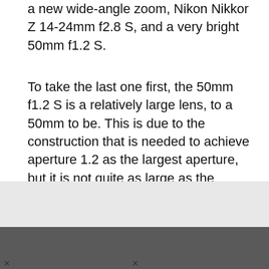a new wide-angle zoom, Nikon Nikkor Z 14-24mm f2.8 S, and a very bright 50mm f1.2 S.
To take the last one first, the 50mm f1.2 S is a relatively large lens, to a 50mm to be. This is due to the construction that is needed to achieve aperture 1.2 as the largest aperture, but it is not quite as large as the 58mm.
[Figure (photo): Light gray rectangle representing a photo placeholder, with a dark gray bar at the bottom containing partial tick marks.]